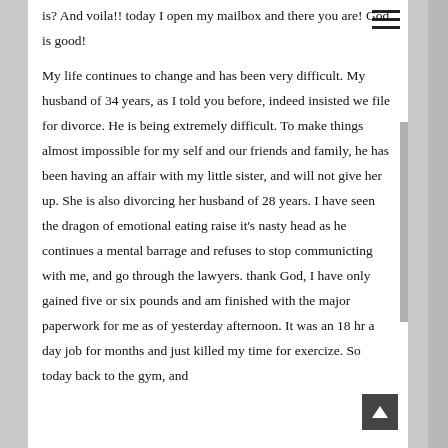is? And voila!! today I open my mailbox and there you are! God is good!

My life continues to change and has been very difficult. My husband of 34 years, as I told you before, indeed insisted we file for divorce. He is being extremely difficult. To make things almost impossible for my self and our friends and family, he has been having an affair with my little sister, and will not give her up. She is also divorcing her husband of 28 years. I have seen the dragon of emotional eating raise it's nasty head as he continues a mental barrage and refuses to stop communicting with me, and go through the lawyers. thank God, I have only gained five or six pounds and am finished with the major paperwork for me as of yesterday afternoon. It was an 18 hr a day job for months and just killed my time for exercize. So today back to the gym, and